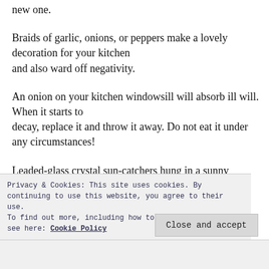new one.
Braids of garlic, onions, or peppers make a lovely decoration for your kitchen and also ward off negativity.
An onion on your kitchen windowsill will absorb ill will. When it starts to decay, replace it and throw it away. Do not eat it under any circumstances!
Leaded-glass crystal sun-catchers hung in a sunny
Privacy & Cookies: This site uses cookies. By continuing to use this website, you agree to their use.
To find out more, including how to control cookies, see here: Cookie Policy
Close and accept